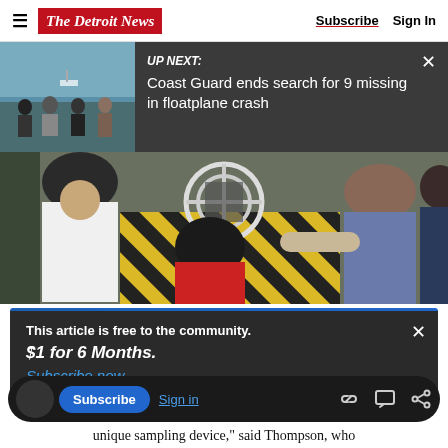The Detroit News — Subscribe | Sign In
UP NEXT: Coast Guard ends search for 9 missing in floatplane crash
[Figure (photo): People standing on a dock or waterfront watching a boat on the water in the background]
[Figure (photo): Group of people from behind examining a scientific sampling device with white tubes/pipes on a yellow-striped surface]
This article is free to the community.
$1 for 6 Months.
Subscribe now
Subscribe  Sign in
unique sampling device," said Thompson, who